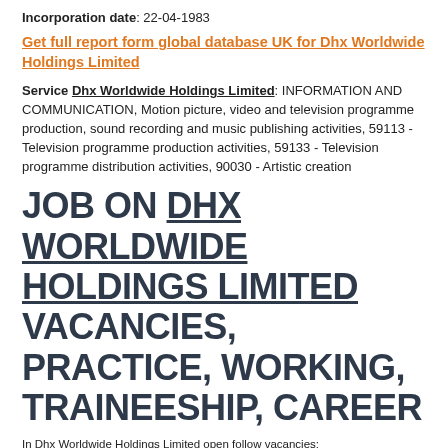Incorporation date: 22-04-1983
Get full report form global database UK for Dhx Worldwide Holdings Limited
Service Dhx Worldwide Holdings Limited: INFORMATION AND COMMUNICATION, Motion picture, video and television programme production, sound recording and music publishing activities, 59113 - Television programme production activities, 59133 - Television programme distribution activities, 90030 - Artistic creation
JOB ON DHX WORLDWIDE HOLDINGS LIMITED VACANCIES, PRACTICE, WORKING, TRAINEESHIP, CAREER
In Dhx Worldwide Holdings Limited open follow vacancies:
Tester. 2900 GBP.